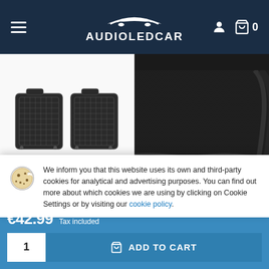AUDIOLEDCAR — navigation bar with hamburger menu, logo, user icon, cart (0)
[Figure (photo): Two rubber floor mats (black, grid pattern) shown from above]
[Figure (photo): Black carpet floor mat close-up showing fabric texture and stitching]
ADD TO CART (left product button)
ADD TO CART (right product button)
FLOOR MATS RUBBER
FLOOR MATS VOLVO XC90
We inform you that this website uses its own and third-party cookies for analytical and advertising purposes. You can find out more about which cookies we are using by clicking on Cookie Settings or by visiting our cookie policy.
€42.99  Tax included
ADD TO CART